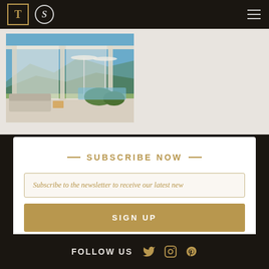T S [navigation logos and hamburger menu]
[Figure (photo): Outdoor luxury terrace with white curtains, lounge seating, parasols, mountains and blue sky in background]
— SUBSCRIBE NOW —
Subscribe to the newsletter to receive our latest new
SIGN UP
FOLLOW US
[Figure (illustration): Social media icons: Twitter bird, Instagram camera, Pinterest P]